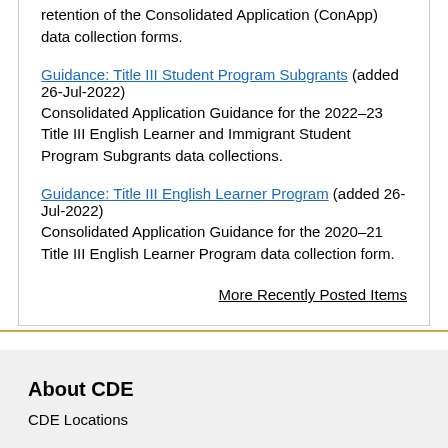retention of the Consolidated Application (ConApp) data collection forms.
Guidance: Title III Student Program Subgrants (added 26-Jul-2022)
Consolidated Application Guidance for the 2022–23 Title III English Learner and Immigrant Student Program Subgrants data collections.
Guidance: Title III English Learner Program (added 26-Jul-2022)
Consolidated Application Guidance for the 2020–21 Title III English Learner Program data collection form.
More Recently Posted Items
About CDE
CDE Locations